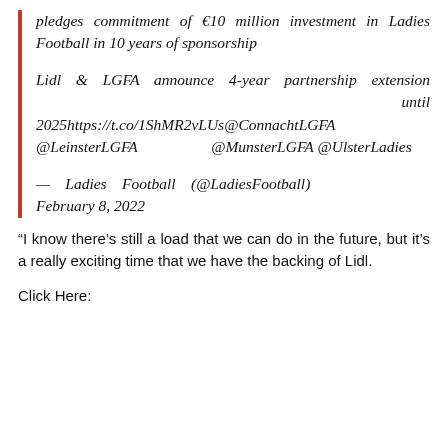pledges commitment of €10 million investment in Ladies Football in 10 years of sponsorship
Lidl & LGFA announce 4-year partnership extension until 2025https://t.co/1ShMR2vLUs@ConnachtLGFA @LeinsterLGFA @MunsterLGFA @UlsterLadies
— Ladies Football (@LadiesFootball) February 8, 2022
“I know there’s still a load that we can do in the future, but it’s a really exciting time that we have the backing of Lidl.
Click Here: